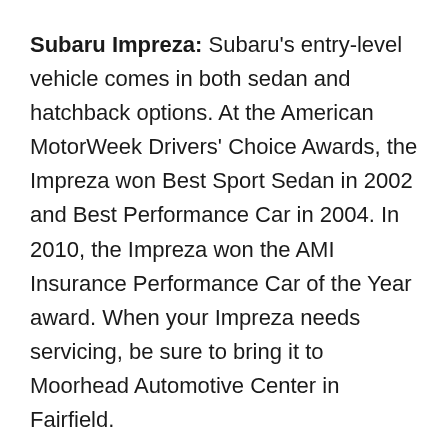Subaru Impreza: Subaru's entry-level vehicle comes in both sedan and hatchback options. At the American MotorWeek Drivers' Choice Awards, the Impreza won Best Sport Sedan in 2002 and Best Performance Car in 2004. In 2010, the Impreza won the AMI Insurance Performance Car of the Year award. When your Impreza needs servicing, be sure to bring it to Moorhead Automotive Center in Fairfield.
Subaru Crosstrek: The Subaru Crosstrek is a compact crossover that was released in 2012. The Crosstrek can be described as a more off-road suited version of the Impreza. Although the